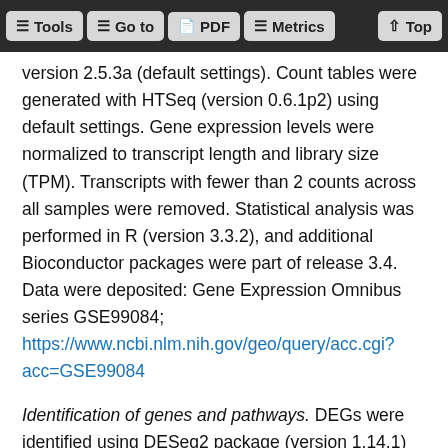Tools  Go to  PDF  Metrics  Top
version 2.5.3a (default settings). Count tables were generated with HTSeq (version 0.6.1p2) using default settings. Gene expression levels were normalized to transcript length and library size (TPM). Transcripts with fewer than 2 counts across all samples were removed. Statistical analysis was performed in R (version 3.3.2), and additional Bioconductor packages were part of release 3.4. Data were deposited: Gene Expression Omnibus series GSE99084; https://www.ncbi.nlm.nih.gov/geo/query/acc.cgi?acc=GSE99084
Identification of genes and pathways. DEGs were identified using DESeq2 package (version 1.14.1) modeling for the sex, RNA pulldown, and treatment effects (design = ~sex + group, group represents the